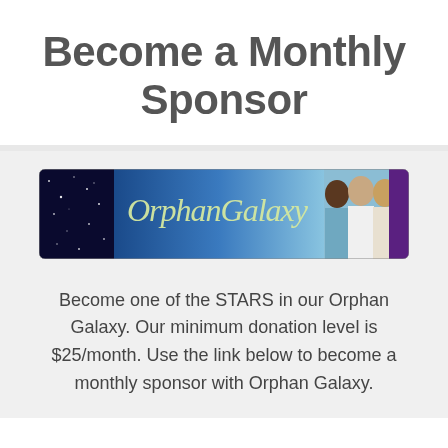Become a Monthly Sponsor
[Figure (illustration): Orphan Galaxy banner logo with dark blue starry sky on the left, gradient blue center with cursive 'OrphanGalaxy' text in light yellow-green, photos of three children on the right, and a purple/dark panel on the far right edge.]
Become one of the STARS in our Orphan Galaxy. Our minimum donation level is $25/month. Use the link below to become a monthly sponsor with Orphan Galaxy.